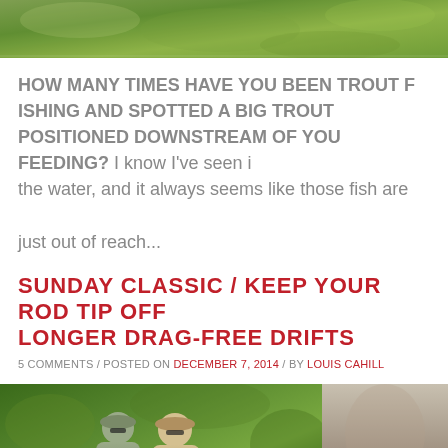[Figure (photo): Top banner photo of green foliage/water scene, cropped at top]
HOW MANY TIMES HAVE YOU BEEN TROUT FISHING AND SPOTTED A BIG TROUT POSITIONED DOWNSTREAM OF YOU FEEDING? I know I've seen it in the water, and it always seems like those fish are just out of reach...
SUNDAY CLASSIC / KEEP YOUR ROD TIP OFF THE WATER FOR LONGER DRAG-FREE DRIFTS
5 COMMENTS / POSTED ON DECEMBER 7, 2014 / BY LOUIS CAHILL
[Figure (photo): Two men wearing caps and sunglasses standing outdoors in green foliage, and a second partial photo to the right]